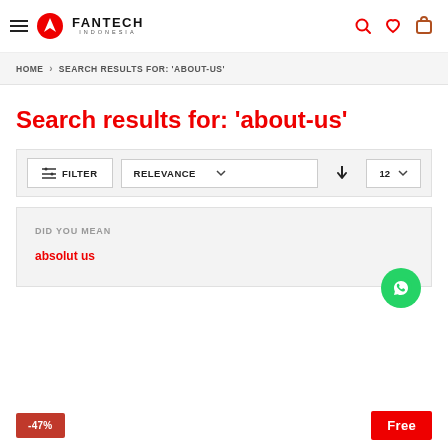Fantech Indonesia
HOME > SEARCH RESULTS FOR: 'ABOUT-US'
Search results for: 'about-us'
FILTER | RELEVANCE | 12
DID YOU MEAN
absolut us
-47% | Free